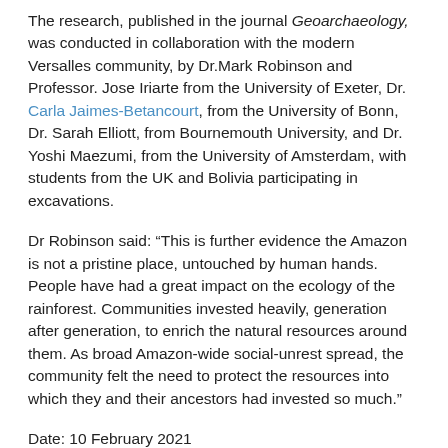The research, published in the journal Geoarchaeology, was conducted in collaboration with the modern Versalles community, by Dr.Mark Robinson and Professor. Jose Iriarte from the University of Exeter, Dr. Carla Jaimes-Betancourt, from the University of Bonn, Dr. Sarah Elliott, from Bournemouth University, and Dr. Yoshi Maezumi, from the University of Amsterdam, with students from the UK and Bolivia participating in excavations.
Dr Robinson said: “This is further evidence the Amazon is not a pristine place, untouched by human hands. People have had a great impact on the ecology of the rainforest. Communities invested heavily, generation after generation, to enrich the natural resources around them. As broad Amazon-wide social-unrest spread, the community felt the need to protect the resources into which they and their ancestors had invested so much.”
Date: 10 February 2021
Read more University News